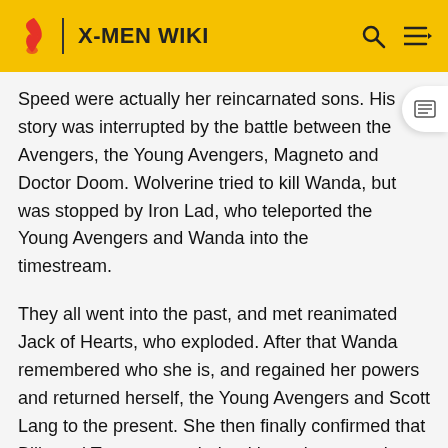X-MEN WIKI
Speed were actually her reincarnated sons. His story was interrupted by the battle between the Avengers, the Young Avengers, Magneto and Doctor Doom. Wolverine tried to kill Wanda, but was stopped by Iron Lad, who teleported the Young Avengers and Wanda into the timestream.
They all went into the past, and met reanimated Jack of Hearts, who exploded. After that Wanda remembered who she is, and regained her powers and returned herself, the Young Avengers and Scott Lang to the present. She then finally confirmed that Billy and Tommy were indeed her reincarnated sons.
Realizing that her sons are alive, Wanda met with X-